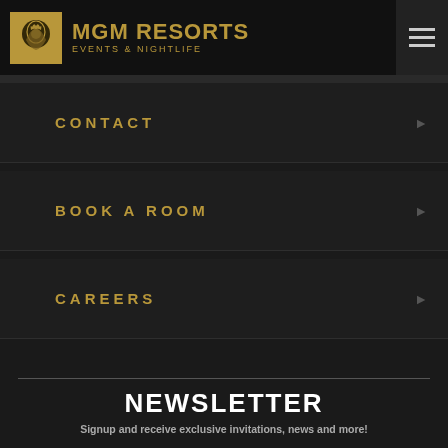MGM RESORTS EVENTS & NIGHTLIFE
CONTACT
BOOK A ROOM
CAREERS
NEWSLETTER
Signup and receive exclusive invitations, news and more!